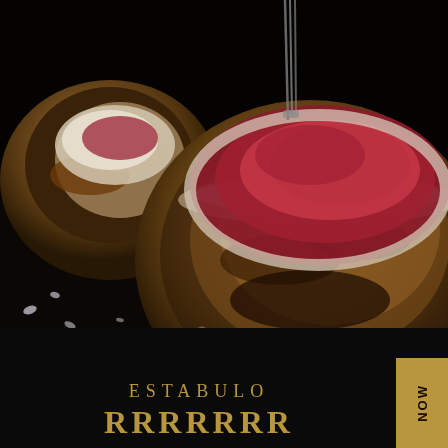[Figure (photo): Close-up food photography of seared meat (filet/tournedos) in a dark, moody setting. Two pieces of seared beef are visible, showing a golden-brown crust on the outside with rare red meat visible on top. The meat is placed on a dark black surface scattered with coarse sea salt crystals. A fork is partially visible at the top of the image.]
ESTABULO
RRRRRRR